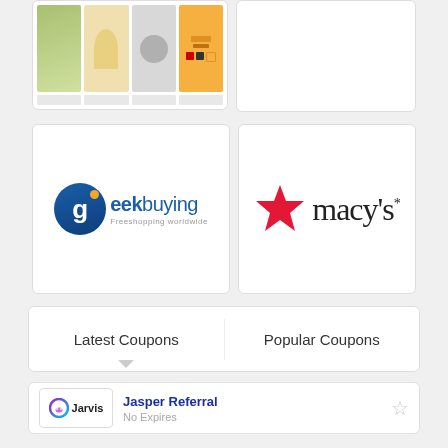[Figure (screenshot): Partial Amazon product page screenshot showing product images]
[Figure (logo): Empty white card placeholder]
[Figure (logo): Geekbuying logo - Freeshopping worldwide]
[Figure (logo): Macy's logo with red star]
Latest Coupons
Popular Coupons
[Figure (logo): Jarvis logo]
Jasper Referral
No Expires
[Figure (logo): Jarvis logo]
Free Trial Jasper AI
No Expires